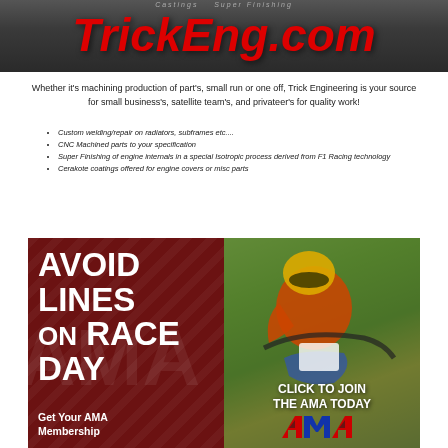[Figure (illustration): TrickEng.com advertisement banner with dark metallic background showing the website URL in large red italic bold text, with description of machining services, bullet list, and red special rates text]
[Figure (illustration): AMA membership advertisement showing 'AVOID LINES ON RACE DAY' text on dark red background left panel, and a motocross rider photo on right panel with 'CLICK TO JOIN THE AMA TODAY' text and AMA logo]